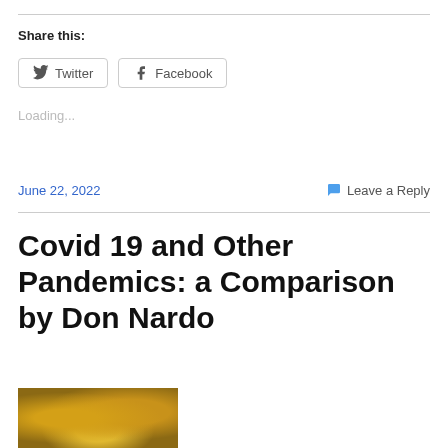Share this:
Twitter
Facebook
Loading...
June 22, 2022
Leave a Reply
Covid 19 and Other Pandemics: a Comparison by Don Nardo
[Figure (photo): Book cover or related image thumbnail showing yellow/amber microscopic imagery]